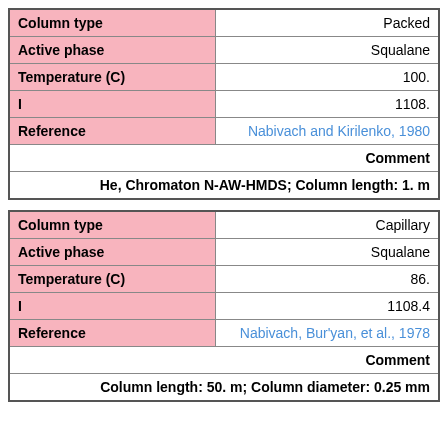| Column type | Packed |
| --- | --- |
| Column type | Packed |
| Active phase | Squalane |
| Temperature (C) | 100. |
| I | 1108. |
| Reference | Nabivach and Kirilenko, 1980 |
| Comment |  |
| He, Chromaton N-AW-HMDS; Column length: 1. m |  |
| Column type | Capillary |
| --- | --- |
| Column type | Capillary |
| Active phase | Squalane |
| Temperature (C) | 86. |
| I | 1108.4 |
| Reference | Nabivach, Bur'yan, et al., 1978 |
| Comment |  |
| Column length: 50. m; Column diameter: 0.25 mm |  |